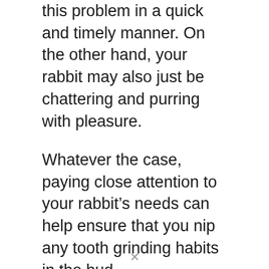this problem in a quick and timely manner. On the other hand, your rabbit may also just be chattering and purring with pleasure.
Whatever the case, paying close attention to your rabbit's needs can help ensure that you nip any tooth grinding habits in the bud.
Rabbits, Small Animals
We use cookies to ensure that we give you the best experience on our website. If you continue to use this site we will assume that you are happy with it.